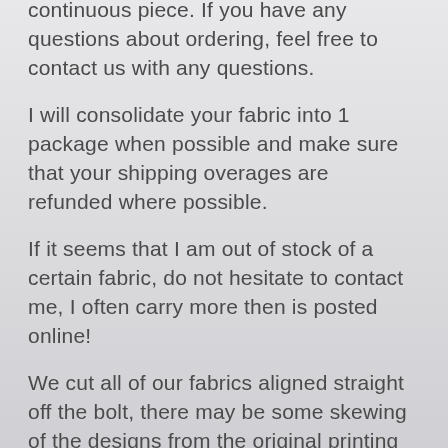continuous piece. If you have any questions about ordering, feel free to contact us with any questions.
I will consolidate your fabric into 1 package when possible and make sure that your shipping overages are refunded where possible.
If it seems that I am out of stock of a certain fabric, do not hesitate to contact me, I often carry more then is posted online!
We cut all of our fabrics aligned straight off the bolt, there may be some skewing of the designs from the original printing of the pattern, of the fabric maybe have been folded on the bolt a little wonky. If you are looking for exact repeating motifs in the design, or exact measurements, please buy more than you need. We always try to make sure every cut is aligned, but somethings are out of our control. If you have any issues